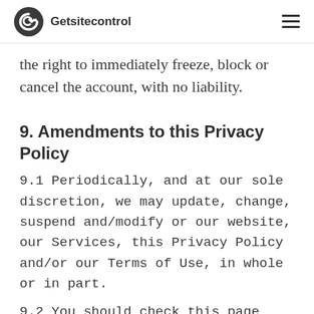Getsitecontrol
the right to immediately freeze, block or cancel the account, with no liability.
9. Amendments to this Privacy Policy
9.1 Periodically, and at our sole discretion, we may update, change, suspend and/modify or our website, our Services, this Privacy Policy and/or our Terms of Use, in whole or in part.
9.2 You should check this page...